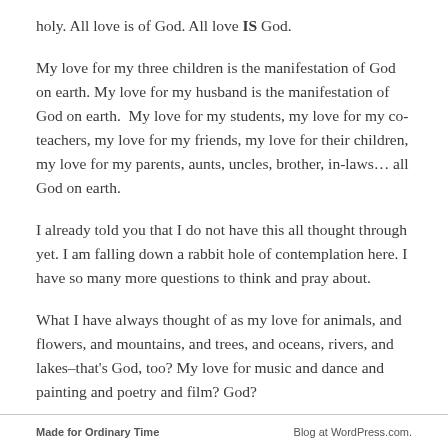holy. All love is of God. All love IS God.
My love for my three children is the manifestation of God on earth. My love for my husband is the manifestation of God on earth.  My love for my students, my love for my co-teachers, my love for my friends, my love for their children, my love for my parents, aunts, uncles, brother, in-laws... all God on earth.
I already told you that I do not have this all thought through yet. I am falling down a rabbit hole of contemplation here. I have so many more questions to think and pray about.
What I have always thought of as my love for animals, and flowers, and mountains, and trees, and oceans, rivers, and lakes–that's God, too? My love for music and dance and painting and poetry and film? God?
Made for Ordinary Time   Blog at WordPress.com.